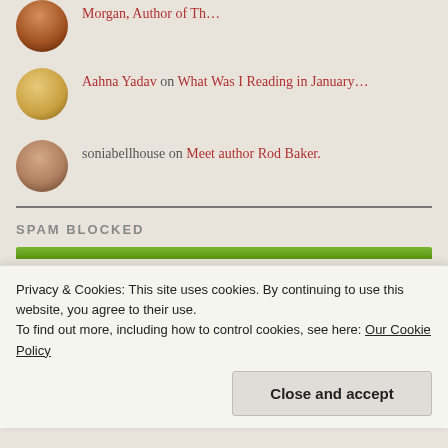Morgan, Author of Th…
Aahna Yadav on What Was I Reading in January…
soniabellhouse on Meet author Rod Baker.
SPAM BLOCKED
Privacy & Cookies: This site uses cookies. By continuing to use this website, you agree to their use.
To find out more, including how to control cookies, see here: Our Cookie Policy
Close and accept